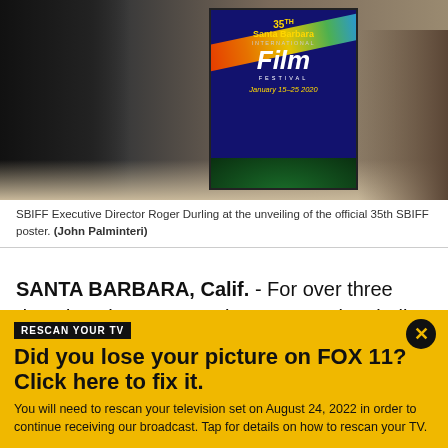[Figure (photo): SBIFF Executive Director Roger Durling standing next to the official 35th Santa Barbara International Film Festival poster, January 15-25 2020]
SBIFF Executive Director Roger Durling at the unveiling of the official 35th SBIFF poster. (John Palminteri)
SANTA BARBARA, Calif. - For over three decades, the Santa Barbara International Film Festival (SBIFF) has attracted some of the biggest names in Hollywood, and
RESCAN YOUR TV
Did you lose your picture on FOX 11? Click here to fix it.
You will need to rescan your television set on August 24, 2022 in order to continue receiving our broadcast. Tap for details on how to rescan your TV.